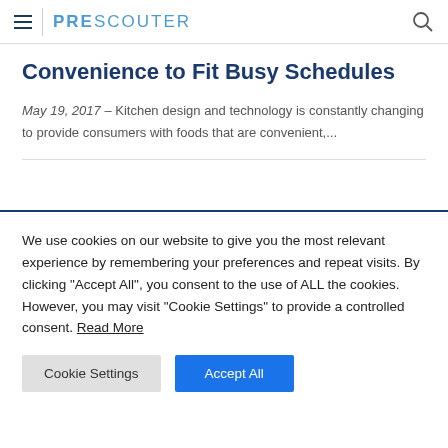PRESCOUTER
Convenience to Fit Busy Schedules
May 19, 2017 – Kitchen design and technology is constantly changing to provide consumers with foods that are convenient,...
We use cookies on our website to give you the most relevant experience by remembering your preferences and repeat visits. By clicking "Accept All", you consent to the use of ALL the cookies. However, you may visit "Cookie Settings" to provide a controlled consent. Read More